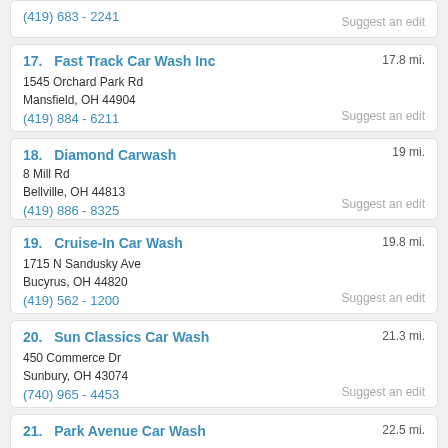(419) 683 - 2241
Suggest an edit
17.   Fast Track Car Wash Inc
17.8 mi.
1545 Orchard Park Rd
Mansfield, OH 44904
(419) 884 - 6211
Suggest an edit
18.   Diamond Carwash
19 mi.
8 Mill Rd
Bellville, OH 44813
(419) 886 - 8325
Suggest an edit
19.   Cruise-In Car Wash
19.8 mi.
1715 N Sandusky Ave
Bucyrus, OH 44820
(419) 562 - 1200
Suggest an edit
20.   Sun Classics Car Wash
21.3 mi.
450 Commerce Dr
Sunbury, OH 43074
(740) 965 - 4453
Suggest an edit
21.   Park Avenue Car Wash
22.5 mi.